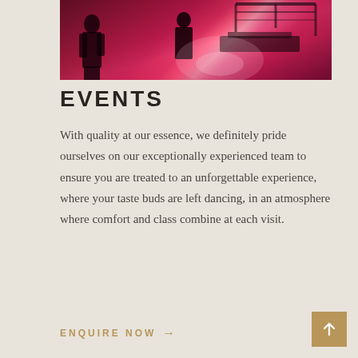[Figure (photo): Dark moody photo of a nightclub or event venue with pink/magenta lighting, silhouettes of people, and truss/stage equipment visible]
EVENTS
With quality at our essence, we definitely pride ourselves on our exceptionally experienced team to ensure you are treated to an unforgettable experience, where your taste buds are left dancing, in an atmosphere where comfort and class combine at each visit.
ENQUIRE NOW →